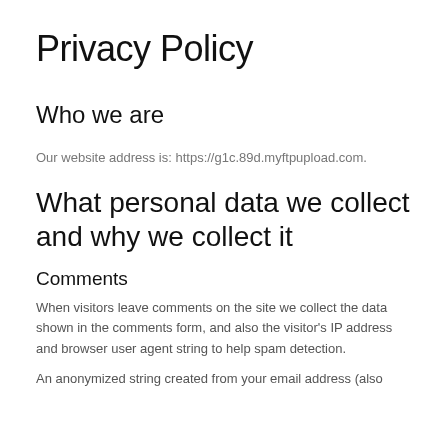Privacy Policy
Who we are
Our website address is: https://g1c.89d.myftpupload.com.
What personal data we collect and why we collect it
Comments
When visitors leave comments on the site we collect the data shown in the comments form, and also the visitor's IP address and browser user agent string to help spam detection.
An anonymized string created from your email address (also